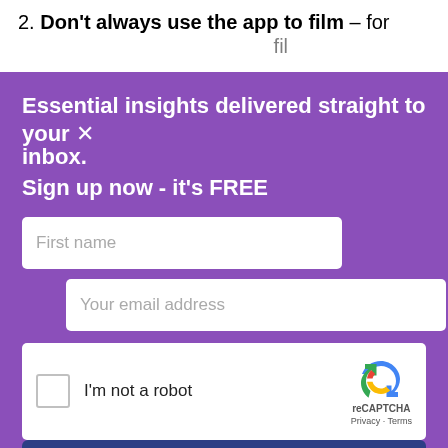2. Don't always use the app to film – for
Essential insights delivered straight to your inbox.
Sign up now - it's FREE
[Figure (screenshot): Email subscription form with First name field, Your email address field, reCAPTCHA widget, and SUBSCRIBE button on purple background]
By submitting your details you confirm you have read our T&Cs and privacy policy.